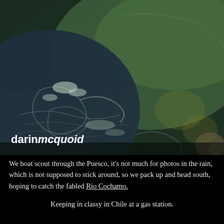[Figure (photo): Close-up photograph of turbulent river water showing swirling currents with contrasting dark blue-grey and green-tinted water, with the watermark 'darin mcquoid' in the lower left corner.]
We boat scout through the Puesco, it's not much for photos in the rain, which is not supposed to stick around, so we pack up and head south, hoping to catch the fabled Rio Cochamo.
Keeping in classy in Chile at a gas station.